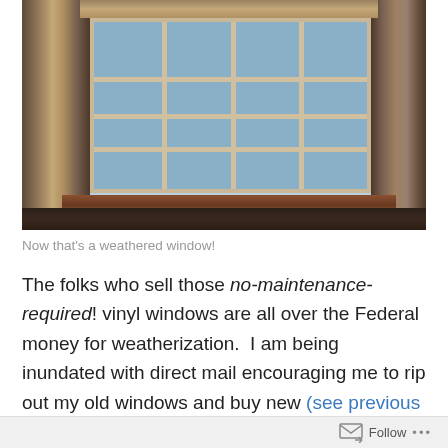[Figure (photo): An old weathered wooden window with peeling white paint, multi-pane glass arranged in a 4x4 grid, set in a deteriorating barn or old building structure, with a rusty metal window sill and dark roofing shingles below.]
Now that's a weathered window!
The folks who sell those no-maintenance-required! vinyl windows are all over the Federal money for weatherization.  I am being inundated with direct mail encouraging me to rip out my old windows and buy new (see previous post).